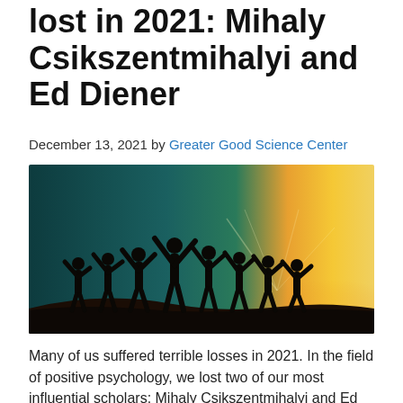lost in 2021: Mihaly Csikszentmihalyi and Ed Diener
December 13, 2021 by Greater Good Science Center
[Figure (photo): Silhouettes of a group of people with raised arms standing against a bright sunset sky with teal and orange tones]
Many of us suffered terrible losses in 2021. In the field of positive psychology, we lost two of our most influential scholars: Mihaly Csikszentmihalyi and Ed Diener. In